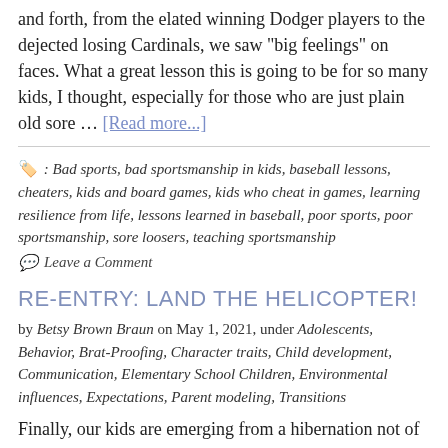and forth, from the elated winning Dodger players to the dejected losing Cardinals, we saw "big feelings" on faces. What a great lesson this is going to be for so many kids, I thought, especially for those who are just plain old sore … [Read more...]
: Bad sports, bad sportsmanship in kids, baseball lessons, cheaters, kids and board games, kids who cheat in games, learning resilience from life, lessons learned in baseball, poor sports, poor sportsmanship, sore loosers, teaching sportsmanship
Leave a Comment
RE-ENTRY: LAND THE HELICOPTER!
by Betsy Brown Braun on May 1, 2021, under Adolescents, Behavior, Brat-Proofing, Character traits, Child development, Communication, Elementary School Children, Environmental influences, Expectations, Parent modeling, Transitions
Finally, our kids are emerging from a hibernation not of